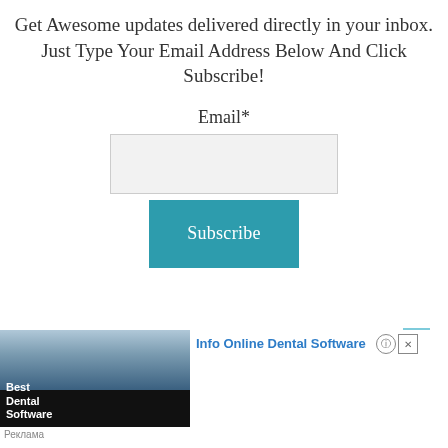Get Awesome updates delivered directly in your inbox.
Just Type Your Email Address Below And Click Subscribe!
Email*
[Figure (screenshot): Email input text box (empty, light gray background)]
[Figure (screenshot): Subscribe button in teal/blue color with white text]
[Figure (screenshot): Advertisement for Info Online Dental Software showing dental software image and text. Includes 'Best Dental Software' label and 'Реклама' footer text.]